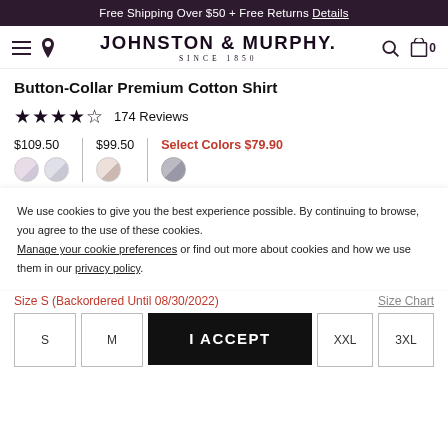Free Shipping Over $50 + Free Returns Details
[Figure (logo): Johnston & Murphy logo with hamburger menu, location pin, search and bag icons]
Button-Collar Premium Cotton Shirt
★★★★☆ 174 Reviews
$109.50 | $99.50 | Select Colors $79.90
We use cookies to give you the best experience possible. By continuing to browse, you agree to the use of these cookies. Manage your cookie preferences or find out more about cookies and how we use them in our privacy policy.
Size S (Backordered Until 08/30/2022) Size Chart
S  M  XXL  3XL
I ACCEPT